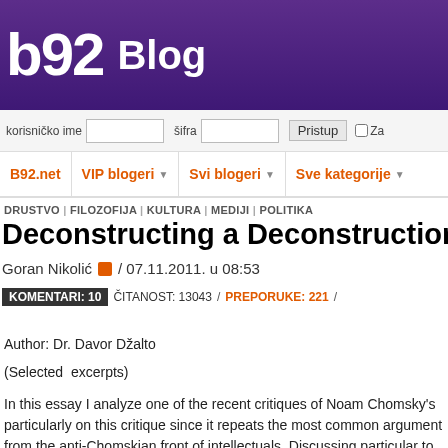b92 Blog
korisničko ime   šifra   Pristup   Za
B92.net   VIP blogeri   Svi blogeri   Sve kategorije
DRUSTVO | FILOZOFIJA | KULTURA | MEDIJI | POLITIKA
Deconstructing a Deconstruction
Goran Nikolić / 07.11.2011. u 08:53
KOMENTARI: 10   ČITANOST: 13043 /  PREPORUKE: 221 /
Author: Dr. Davor Džalto
(Selected  excerpts)
In this essay I analyze one of the recent critiques of Noam Chomsky's particularly on this critique since it repeats the most common argument from the anti-Chomskian front of intellectuals. Discussing particular to